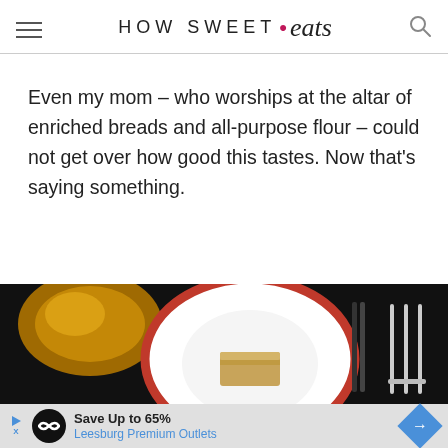HOW SWEET • eats
Even my mom – who worships at the altar of enriched breads and all-purpose flour – could not get over how good this tastes. Now that's saying something.
[Figure (photo): Overhead photo of a slice of cake on a white plate with red trim border, fork on right side, golden bowl on left, dark background. Ad banner at bottom: Save Up to 65% Leesburg Premium Outlets.]